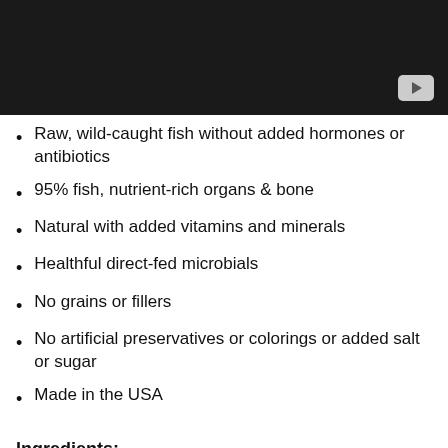[Figure (screenshot): Dark/black video thumbnail with YouTube play button icon in bottom-right corner]
Raw, wild-caught fish without added hormones or antibiotics
95% fish, nutrient-rich organs & bone
Natural with added vitamins and minerals
Healthful direct-fed microbials
No grains or fillers
No artificial preservatives or colorings or added salt or sugar
Made in the USA
Ingredients:
Ground Salmon with Bones, Ground Cod with